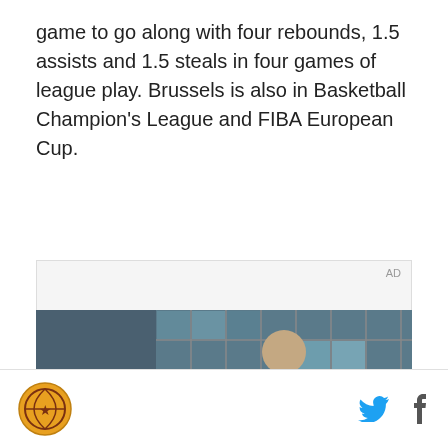game to go along with four rebounds, 1.5 assists and 1.5 steals in four games of league play. Brussels is also in Basketball Champion's League and FIBA European Cup.
[Figure (screenshot): Video advertisement showing a young man standing in front of a tiled glass building facade, with text 'Unfold your world' and a play button overlay. AD label in top right corner.]
Logo icon | Twitter icon | Facebook icon